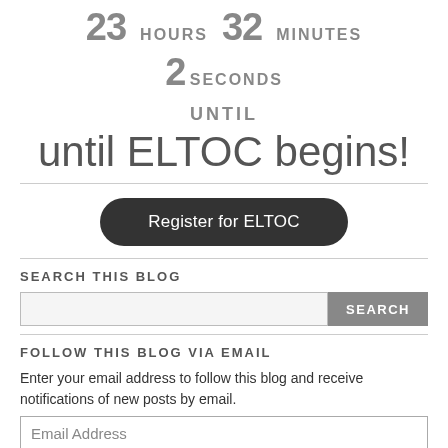23 HOURS   32 MINUTES
2 SECONDS
UNTIL
until ELTOC begins!
Register for ELTOC
SEARCH THIS BLOG
SEARCH
FOLLOW THIS BLOG VIA EMAIL
Enter your email address to follow this blog and receive notifications of new posts by email.
Email Address